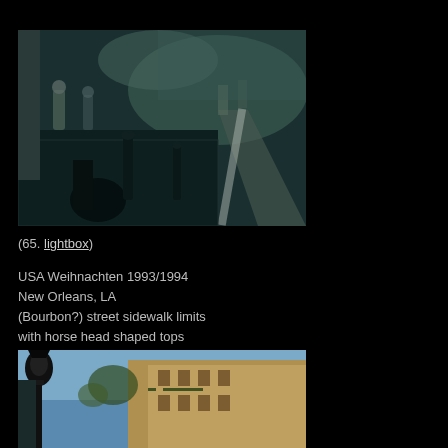[Figure (photo): Street scene showing a cobblestone sidewalk with people walking. A figure crouches in the foreground near bollards. Blurred pedestrians and a road visible in the background. Teal/dark toned photograph.]
(65. lightbox)
USA Weihnachten 1993/1994
New Orleans, LA
(Bourbon?) street sidewalk limits
with horse head shaped tops
[Figure (photo): Street view looking up at buildings on Bourbon Street, New Orleans. A decorative lamp post is visible in the foreground on the left. Buildings with balconies line the right side under a blue sky.]